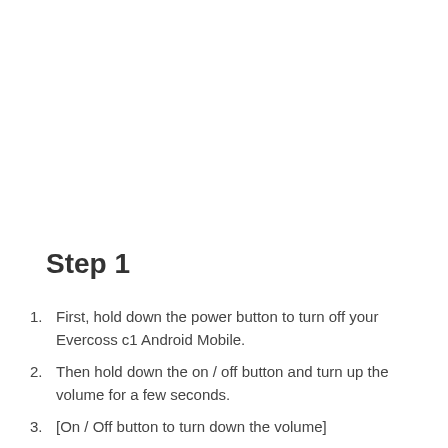Step 1
First, hold down the power button to turn off your Evercoss c1 Android Mobile.
Then hold down the on / off button and turn up the volume for a few seconds.
[On / Off button to turn down the volume]
Release all buttons when the logo appears.